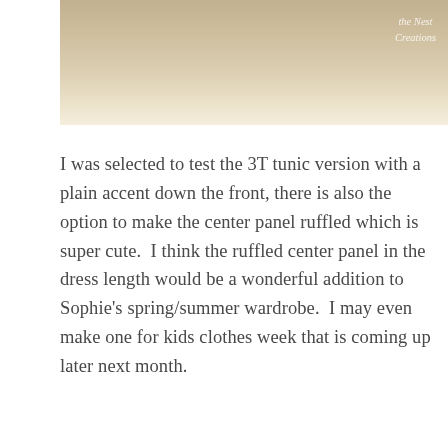[Figure (photo): Top portion of a photo showing a light-colored background with cursive handwritten-style text reading 'the Nest Creations' in the upper right corner]
I was selected to test the 3T tunic version with a plain accent down the front, there is also the option to make the center panel ruffled which is super cute.  I think the ruffled center panel in the dress length would be a wonderful addition to Sophie's spring/summer wardrobe.  I may even make one for kids clothes week that is coming up later next month.
[Figure (photo): Photo of a young girl with long blonde hair, photographed outdoors with a blurred dark natural background]